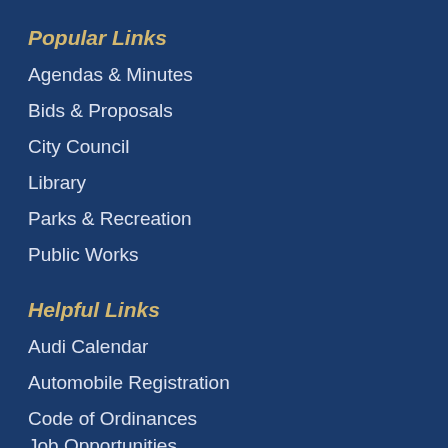Popular Links
Agendas & Minutes
Bids & Proposals
City Council
Library
Parks & Recreation
Public Works
Helpful Links
Audi Calendar
Automobile Registration
Code of Ordinances
Job Opportunities